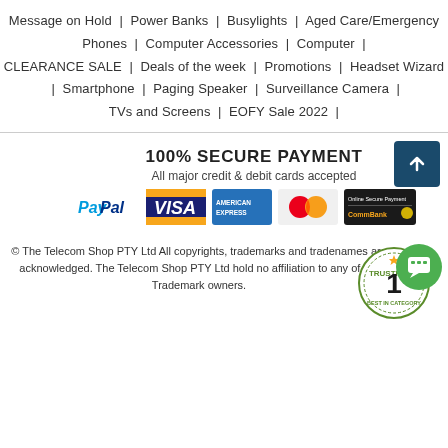Message on Hold | Power Banks | Busylights | Aged Care/Emergency Phones | Computer Accessories | Computer | CLEARANCE SALE | Deals of the week | Promotions | Headset Wizard | Smartphone | Paging Speaker | Surveillance Camera | TVs and Screens | EOFY Sale 2022 |
100% SECURE PAYMENT
All major credit & debit cards accepted
[Figure (logo): Payment logos: PayPal, Visa, American Express, Mastercard, Online Secure Payment / CommBank, and Trustpilot Best in Category badge]
© The Telecom Shop PTY Ltd All copyrights, trademarks and tradenames are acknowledged. The Telecom Shop PTY Ltd hold no affiliation to any of the Trademark owners.